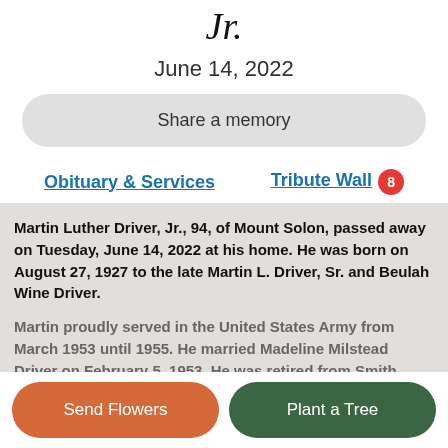Jr.
June 14, 2022
Share a memory
Obituary & Services
Tribute Wall 8
Martin Luther Driver, Jr., 94, of Mount Solon, passed away on Tuesday, June 14, 2022 at his home. He was born on August 27, 1927 to the late Martin L. Driver, Sr. and Beulah Wine Driver.
Martin proudly served in the United States Army from March 1953 until 1955. He married Madeline Milstead Driver on February 5, 1953. He was retired from Smith
Send Flowers
Plant a Tree